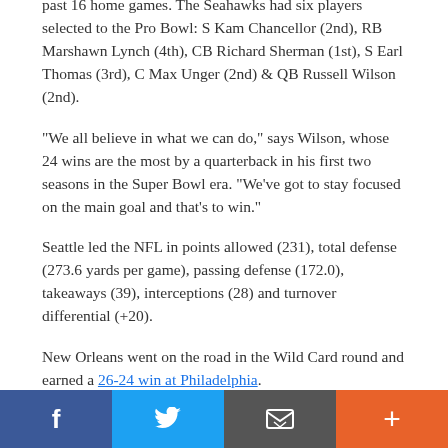past 16 home games. The Seahawks had six players selected to the Pro Bowl: S Kam Chancellor (2nd), RB Marshawn Lynch (4th), CB Richard Sherman (1st), S Earl Thomas (3rd), C Max Unger (2nd) & QB Russell Wilson (2nd).
"We all believe in what we can do," says Wilson, whose 24 wins are the most by a quarterback in his first two seasons in the Super Bowl era. "We've got to stay focused on the main goal and that's to win."
Seattle led the NFL in points allowed (231), total defense (273.6 yards per game), passing defense (172.0), takeaways (39), interceptions (28) and turnover differential (+20).
New Orleans went on the road in the Wild Card round and earned a 26-24 win at Philadelphia.
Shayne Graham kicked four field goals, including the game-winner from 32 yards out as time expired. The Saints rushed for 185 yards, the second most in a
[Figure (other): Social media sharing bar with Facebook, Twitter, email, and plus buttons]